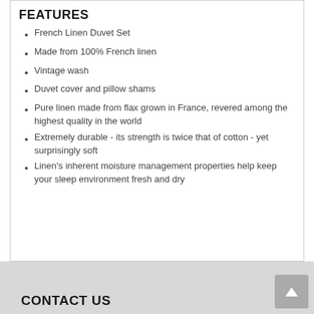FEATURES
French Linen Duvet Set
Made from 100% French linen
Vintage wash
Duvet cover and pillow shams
Pure linen made from flax grown in France, revered among the highest quality in the world
Extremely durable - its strength is twice that of cotton - yet surprisingly soft
Linen's inherent moisture management properties help keep your sleep environment fresh and dry
CONTACT US